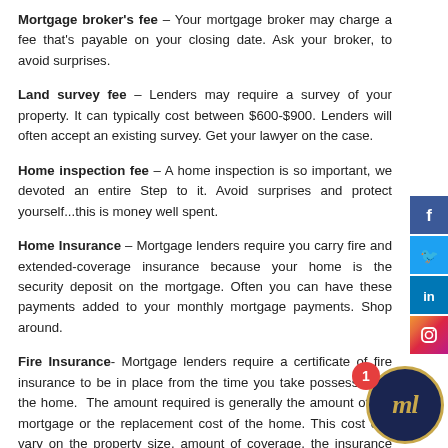Mortgage broker's fee – Your mortgage broker may charge a fee that's payable on your closing date. Ask your broker, to avoid surprises.
Land survey fee – Lenders may require a survey of your property. It can typically cost between $600-$900. Lenders will often accept an existing survey. Get your lawyer on the case.
Home inspection fee – A home inspection is so important, we devoted an entire Step to it. Avoid surprises and protect yourself...this is money well spent.
Home Insurance – Mortgage lenders require you carry fire and extended-coverage insurance because your home is the security deposit on the mortgage. Often you can have these payments added to your monthly mortgage payments. Shop around.
Fire Insurance- Mortgage lenders require a certificate of fire insurance to be in place from the time you take possession of the home. The amount required is generally the amount of the mortgage or the replacement cost of the home. This cost can vary on the property size, amount of coverage, the insurance company and the municipality. The cost can vary anywhere from $250-$600 annually for most properties.
Provincial Sales Tax on Mortg[age Insurance] – If your mortgage is insured, you will be required to pay the applicable taxes on the insurance premium on closing. While the insurance premium can be